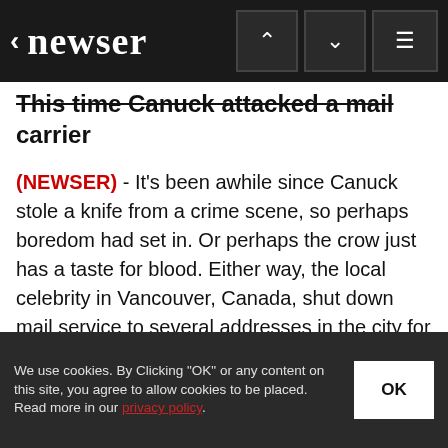newser
This time Canuck attacked a mail carrier
(NEWSER) - It's been awhile since Canuck stole a knife from a crime scene, so perhaps boredom had set in. Or perhaps the crow just has a taste for blood. Either way, the local celebrity in Vancouver, Canada, shut down mail service to several addresses in the city for more than...
We use cookies. By Clicking "OK" or any content on this site, you agree to allow cookies to be placed. Read more in our privacy policy.